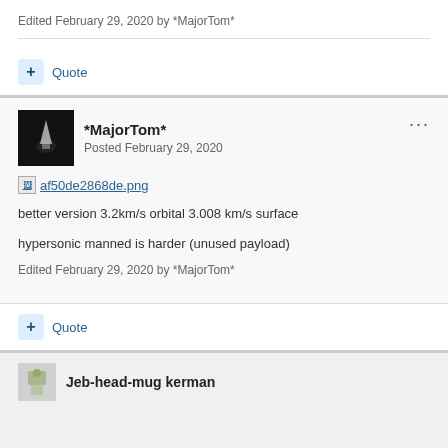Edited February 29, 2020 by *MajorTom*
+ Quote
*MajorTom*
Posted February 29, 2020
[Figure (other): Broken image link: af50de2868de.png]
better version 3.2km/s orbital 3.008 km/s surface
hypersonic manned is harder (unused payload)
Edited February 29, 2020 by *MajorTom*
+ Quote
Jeb-head-mug kerman